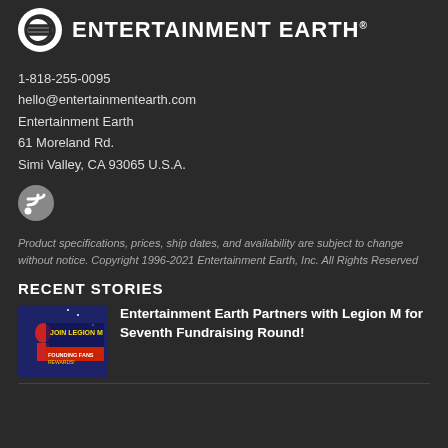[Figure (logo): Entertainment Earth logo with circular icon and bold uppercase text]
1-818-255-0095
hello@entertainmentearth.com
Entertainment Earth
61 Moreland Rd.
Simi Valley, CA 93065 U.S.A.
[Figure (other): RSS feed icon]
Product specifications, prices, ship dates, and availability are subject to change without notice. Copyright 1996-2021 Entertainment Earth, Inc. All Rights Reserved
RECENT STORIES
[Figure (photo): Join Legion M promotional thumbnail showing retro sci-fi imagery with woman in red and banner text]
Entertainment Earth Partners with Legion M for Seventh Fundraising Round!